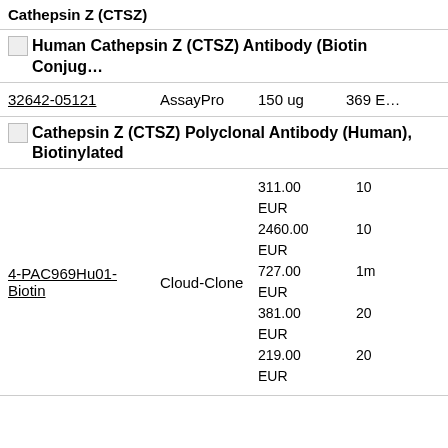Cathepsin Z (CTSZ)
[Figure (photo): Small broken image icon placeholder]
Human Cathepsin Z (CTSZ) Antibody (Biotin Conjug…
| Cat# | Brand | Size | Price |
| --- | --- | --- | --- |
| 32642-05121 | AssayPro | 150 ug | 369 E… |
[Figure (photo): Small broken image icon placeholder]
Cathepsin Z (CTSZ) Polyclonal Antibody (Human), Biotinylated
| Cat# | Brand | Price | Qty |
| --- | --- | --- | --- |
| 4-PAC969Hu01-Biotin | Cloud-Clone | 311.00 EUR
2460.00 EUR
727.00 EUR
381.00 EUR
219.00 EUR | 10
10
1m
20
20 |